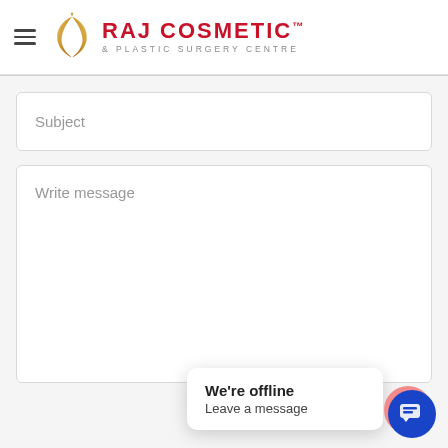[Figure (logo): Raj Cosmetic & Plastic Surgery Centre logo with golden hands and red brand text]
Subject
Write message
We're offline
Leave a message